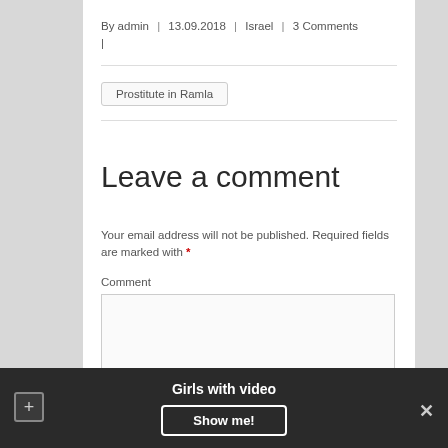By admin | 13.09.2018 | Israel | 3 Comments |
Prostitute in Ramla
Leave a comment
Your email address will not be published. Required fields are marked with *
Comment
Girls with video
Show me!